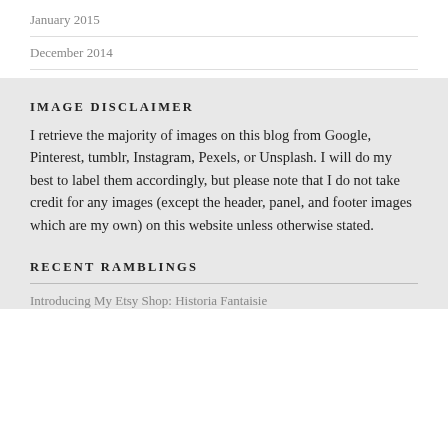January 2015
December 2014
IMAGE DISCLAIMER
I retrieve the majority of images on this blog from Google, Pinterest, tumblr, Instagram, Pexels, or Unsplash. I will do my best to label them accordingly, but please note that I do not take credit for any images (except the header, panel, and footer images which are my own) on this website unless otherwise stated.
RECENT RAMBLINGS
Introducing My Etsy Shop: Historia Fantaisie